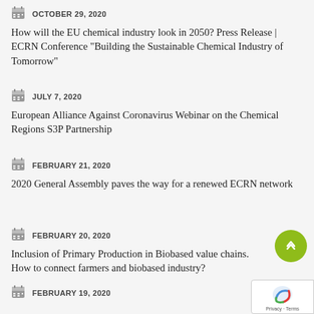OCTOBER 29, 2020 — How will the EU chemical industry look in 2050? Press Release | ECRN Conference “Building the Sustainable Chemical Industry of Tomorrow”
JULY 7, 2020 — European Alliance Against Coronavirus Webinar on the Chemical Regions S3P Partnership
FEBRUARY 21, 2020 — 2020 General Assembly paves the way for a renewed ECRN network
FEBRUARY 20, 2020 — Inclusion of Primary Production in Biobased value chains. How to connect farmers and biobased industry?
FEBRUARY 19, 2020 — POWER4BIO General Assembly: moving forward shared bioeconomy vision